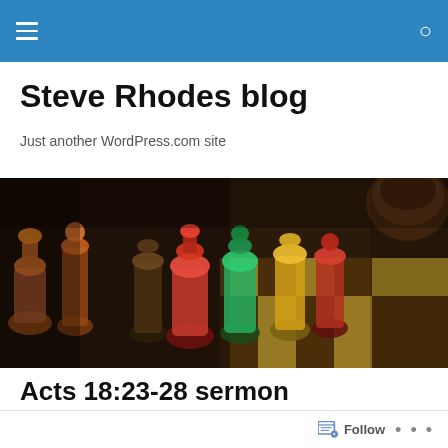Steve Rhodes blog — navigation bar with hamburger menu and search icon
Steve Rhodes blog
Just another WordPress.com site
[Figure (photo): Close-up photograph of a decorative chess set with colorful carved pieces (red, green, gold tones) on a checkered board, with blurred background including a round wooden bowl]
Acts 18:23-28 sermon
Introduction:
Follow • •••